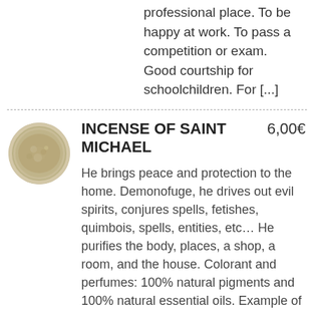together. To find a good professional place. To be happy at work. To pass a competition or exam. Good courtship for schoolchildren. For [...]
[Figure (photo): Circular photo of incense powder, beige/sand colored, in a round dish]
INCENSE OF SAINT MICHAEL  6,00€
He brings peace and protection to the home. Demonofuge, he drives out evil spirits, conjures spells, fetishes, quimbois, spells, entities, etc… He purifies the body, places, a shop, a room, and the house. Colorant and perfumes: 100% natural pigments and 100% natural essential oils. Example of use [...]